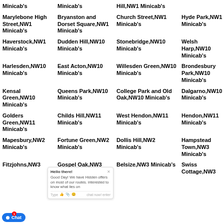Marylebone High Street,NW1 Minicab's
Bryanston and Dorset Square,NW1 Minicab's
Church Street,NW1 Minicab's
Hyde Park,NW1 Minicab's
Haverstock,NW1 Minicab's
Dudden Hill,NW10 Minicab's
Stonebridge,NW10 Minicab's
Welsh Harp,NW10 Minicab's
Harlesden,NW10 Minicab's
East Acton,NW10 Minicab's
Willesden Green,NW10 Minicab's
Brondesbury Park,NW10 Minicab's
Kensal Green,NW10 Minicab's
Queens Park,NW10 Minicab's
College Park and Old Oak,NW10 Minicab's
Dalgarno,NW10 Minicab's
Golders Green,NW11 Minicab's
Childs Hill,NW11 Minicab's
West Hendon,NW11 Minicab's
Hendon,NW11 Minicab's
Mapesbury,NW2 Minicab's
Fortune Green,NW2 Minicab's
Dollis Hill,NW2 Minicab's
Hampstead Town,NW3 Minicab's
Fitzjohns,NW3
Gospel Oak,NW3 Minicab's
Belsize,NW3 Minicab's
Swiss Cottage,NW3